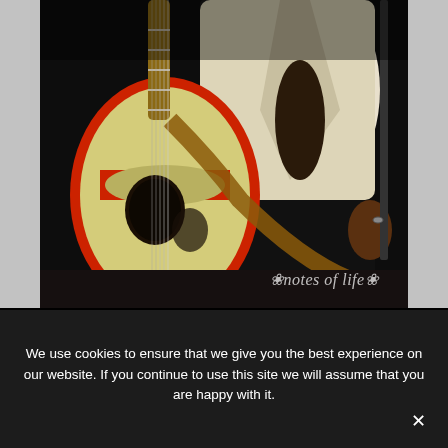[Figure (photo): A musician in a white blazer holding an acoustic guitar with a red rim/binding, viewed from behind/side. The guitar has a light cream body with red sides. The performer is on a dark stage holding a microphone stand. A watermark reading 'notes of life' appears in the lower right corner.]
We use cookies to ensure that we give you the best experience on our website. If you continue to use this site we will assume that you are happy with it.